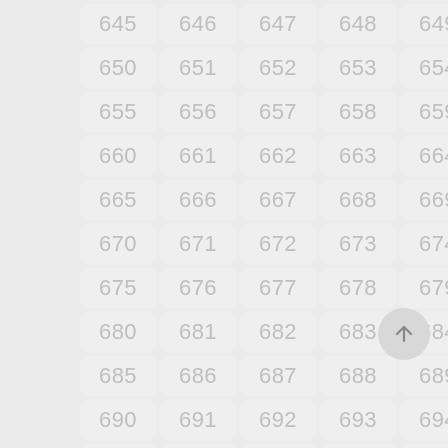[Figure (other): Grid of numbered cells from 645 to 699 arranged in 5 columns and 11 rows, each number displayed in a light gray rounded rectangle on a light gray background. A circular scroll-to-top button with an upward arrow is visible at the bottom right.]